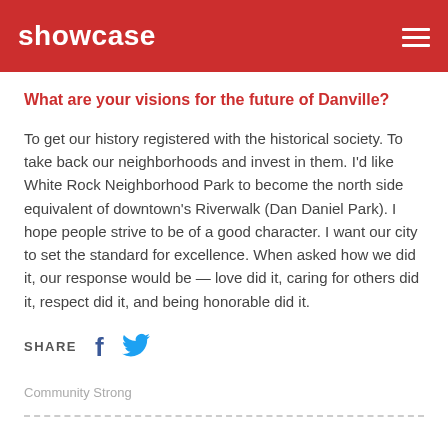showcase
What are your visions for the future of Danville?
To get our history registered with the historical society. To take back our neighborhoods and invest in them. I'd like White Rock Neighborhood Park to become the north side equivalent of downtown's Riverwalk (Dan Daniel Park). I hope people strive to be of a good character. I want our city to set the standard for excellence. When asked how we did it, our response would be — love did it, caring for others did it, respect did it, and being honorable did it.
SHARE
Community Strong